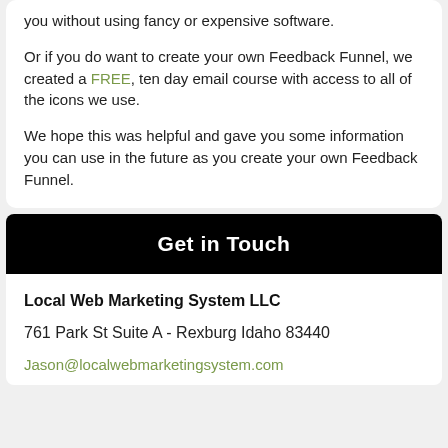you without using fancy or expensive software.
Or if you do want to create your own Feedback Funnel, we created a FREE, ten day email course with access to all of the icons we use.
We hope this was helpful and gave you some information you can use in the future as you create your own Feedback Funnel.
Get in Touch
Local Web Marketing System LLC
761 Park St Suite A - Rexburg Idaho 83440
Jason@localwebmarketingsystem.com